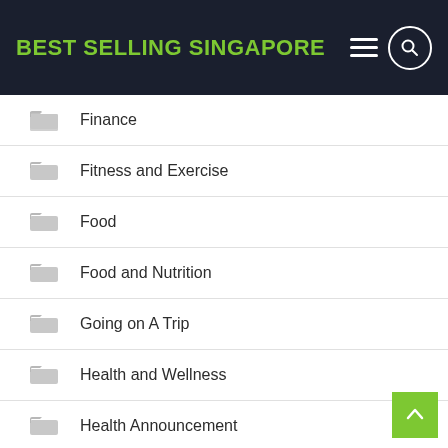BEST SELLING SINGAPORE
Finance
Fitness and Exercise
Food
Food and Nutrition
Going on A Trip
Health and Wellness
Health Announcement
Hobbies
Home